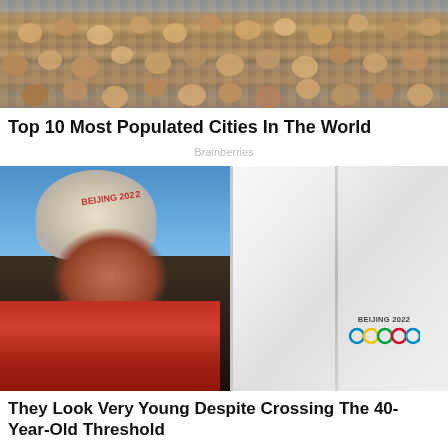[Figure (photo): Crowd of people in a busy public space, seen from above]
Top 10 Most Populated Cities In The World
Brainberries
[Figure (photo): Man wearing a Beijing 2022 winter hat and red jacket, holding a white box with Beijing 2022 Olympic logo]
They Look Very Young Despite Crossing The 40-Year-Old Threshold
Brainberries